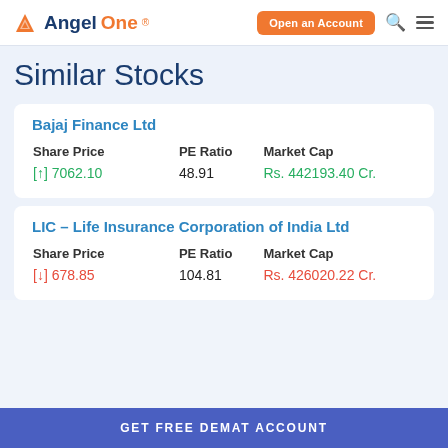[Figure (logo): AngelOne logo with orange triangle and text]
Similar Stocks
Bajaj Finance Ltd
| Share Price | PE Ratio | Market Cap |
| --- | --- | --- |
| [↑] 7062.10 | 48.91 | Rs. 442193.40 Cr. |
LIC – Life Insurance Corporation of India Ltd
| Share Price | PE Ratio | Market Cap |
| --- | --- | --- |
| [↓] 678.85 | 104.81 | Rs. 426020.22 Cr. |
GET FREE DEMAT ACCOUNT